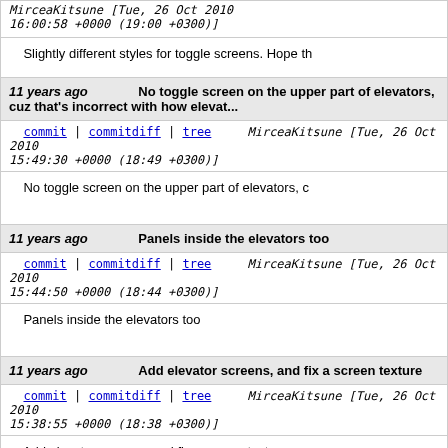MirceaKitsune [Tue, 26 Oct 2010 16:00:58 +0000 (19:00 +0300)]
Slightly different styles for toggle screens. Hope th
11 years ago   No toggle screen on the upper part of elevators, cuz that's incorrect with how elevat...
commit | commitdiff | tree   MirceaKitsune [Tue, 26 Oct 2010 15:49:30 +0000 (18:49 +0300)]
No toggle screen on the upper part of elevators, c
11 years ago   Panels inside the elevators too
commit | commitdiff | tree   MirceaKitsune [Tue, 26 Oct 2010 15:44:50 +0000 (18:44 +0300)]
Panels inside the elevators too
11 years ago   Add elevator screens, and fix a screen texture
commit | commitdiff | tree   MirceaKitsune [Tue, 26 Oct 2010 15:38:55 +0000 (18:38 +0300)]
Add elevator screens, and fix a screen texture